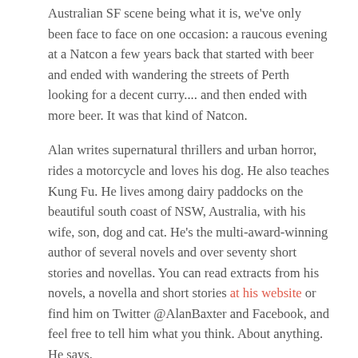Australian SF scene being what it is, we've only been face to face on one occasion: a raucous evening at a Natcon a few years back that started with beer and ended with wandering the streets of Perth looking for a decent curry.... and then ended with more beer. It was that kind of Natcon.
Alan writes supernatural thrillers and urban horror, rides a motorcycle and loves his dog. He also teaches Kung Fu. He lives among dairy paddocks on the beautiful south coast of NSW, Australia, with his wife, son, dog and cat. He's the multi-award-winning author of several novels and over seventy short stories and novellas. You can read extracts from his novels, a novella and short stories at his website or find him on Twitter @AlanBaxter and Facebook, and feel free to tell him what you think. About anything. He says.